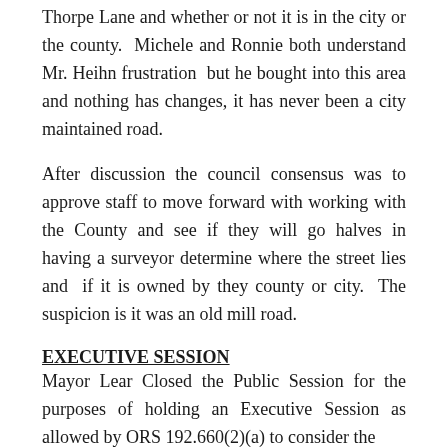Thorpe Lane and whether or not it is in the city or the county.  Michele and Ronnie both understand Mr. Heihn frustration  but he bought into this area and nothing has changes, it has never been a city maintained road.
After discussion the council consensus was to approve staff to move forward with working with the County and see if they will go halves in having a surveyor determine where the street lies and  if it is owned by they county or city.  The suspicion is it was an old mill road.
EXECUTIVE SESSION
Mayor Lear Closed the Public Session for the purposes of holding an Executive Session as allowed by ORS 192.660(2)(a) to consider the